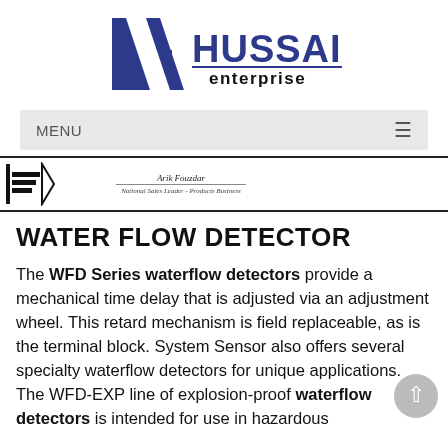[Figure (logo): Hussain Enterprise logo with blue geometric HE mark and bold HUSSAIN text with 'enterprise' below]
[Figure (other): Menu navigation bar with MENU label and hamburger icon on gray background]
[Figure (other): Banner strip showing a business card or document detail with 'Arik Fouzdar, National Sales Leader - Products Business']
WATER FLOW DETECTOR
The WFD Series waterflow detectors provide a mechanical time delay that is adjusted via an adjustment wheel. This retard mechanism is field replaceable, as is the terminal block. System Sensor also offers several specialty waterflow detectors for unique applications. The WFD-EXP line of explosion-proof waterflow detectors is intended for use in hazardous